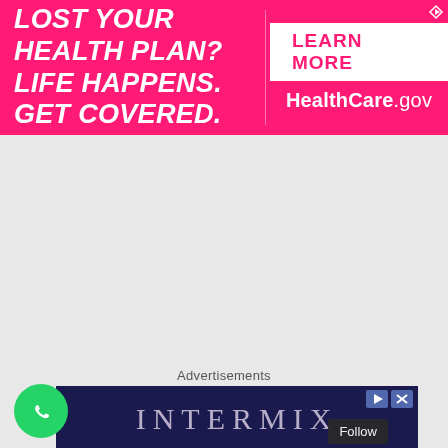[Figure (infographic): HealthCare.gov banner ad with pink background. Left side text: 'LOST YOUR HEALTH PLAN? LIFE HAPPENS. GET COVERED.' Right side has white button 'LEARN MORE' and 'HealthCare.gov' in white text.]
[Figure (infographic): Intermix advertisement on dark navy background with 'INTERMIX' text in light lavender serif font. Includes play and close icon buttons at top right.]
Advertisements
[Figure (logo): WhatsApp button - green circle with phone handset icon]
Follow